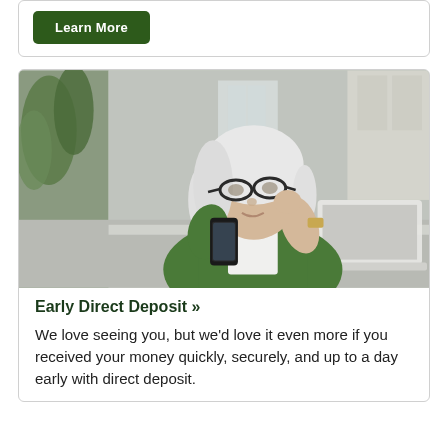[Figure (other): Green 'Learn More' button inside a bordered card]
[Figure (photo): Middle-aged woman with white/silver hair wearing glasses and a green shirt, looking at her smartphone while sitting at a desk with a laptop open in front of her. Modern kitchen/home office background with a plant visible on the left.]
Early Direct Deposit »
We love seeing you, but we'd love it even more if you received your money quickly, securely, and up to a day early with direct deposit.